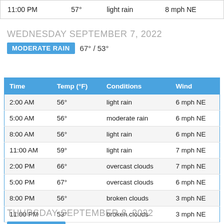| 11:00 PM | 57° | light rain | 8 mph NE |
WEDNESDAY SEPTEMBER 7, 2022
MODERATE RAIN   67° / 53°
| Time | Temp (°F) | Conditions | Wind |
| --- | --- | --- | --- |
| 2:00 AM | 56° | light rain | 6 mph NE |
| 5:00 AM | 56° | moderate rain | 6 mph NE |
| 8:00 AM | 56° | light rain | 6 mph NE |
| 11:00 AM | 59° | light rain | 7 mph NE |
| 2:00 PM | 66° | overcast clouds | 7 mph NE |
| 5:00 PM | 67° | overcast clouds | 6 mph NE |
| 8:00 PM | 56° | broken clouds | 3 mph NE |
| 11:00 PM | 53° | broken clouds | 3 mph NE |
THURSDAY SEPTEMBER 8, 2022
SKY IS CLEAR   75° / 51°